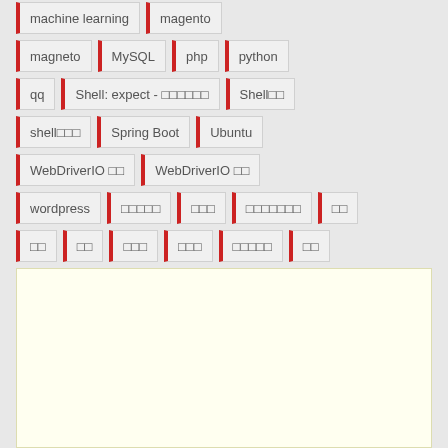machine learning, magento, magneto, MySQL, php, python, qq, Shell: expect - 자동화스크립트, Shell스크립트, shell스크립트강좌, Spring Boot, Ubuntu, WebDriverIO 설치, WebDriverIO 사용, wordpress, 워드프레스설치, 워드프레스주제, 워드프레스테마추천, 개발, 독학, 시작, 시작하기, 한국어강좌마카오, 가자, 기초강좌, 강의목록, 입문, 시작